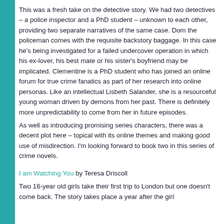This was a fresh take on the detective story. We had two detectives – a police inspector and a PhD student – unknown to each other, providing two separate narratives of the same case. Dom the policeman comes with the requisite backstory baggage. In this case he's being investigated for a failed undercover operation in which his ex-lover, his best mate or his sister's boyfriend may be implicated. Clementine is a PhD student who has joined an online forum for true crime fanatics as part of her research into online personas. Like an intellectual Lisbeth Salander, she is a resourceful young woman driven by demons from her past. There is definitely more unpredictability to come from her in future episodes.
As well as introducing promising series characters, there was a decent plot here – topical with its online themes and making good use of misdirection. I'm looking forward to book two in this series of crime novels.
I am Watching You by Teresa Driscoll
Two 16-year old girls take their first trip to London but one doesn't come back. The story takes place a year after the girl